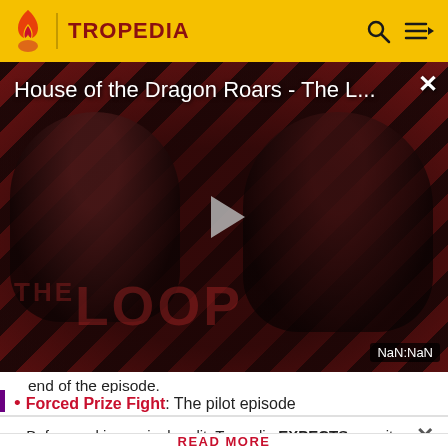TROPEDIA
[Figure (screenshot): Video player showing 'House of the Dragon Roars - The L...' with diagonal red/dark stripe background, two silhouetted figures, THE LOOP text, play button, and NaN:NaN timestamp badge]
end of the episode.
Forced Prize Fight: The pilot episode
Before making a single edit, Tropedia EXPECTS our site policy and manual of style to be followed. Failure to do so may
READ MORE